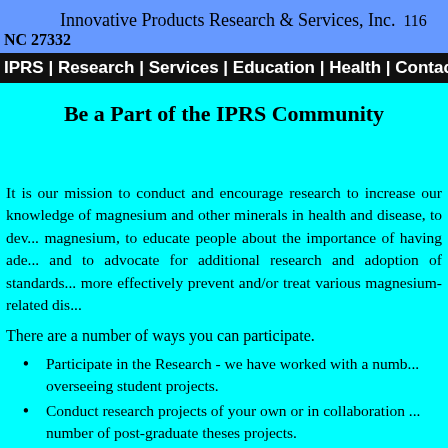Innovative Products Research & Services, Inc.   116... NC 27332
IPRS | Research  | Services | Education | Health | Contact Us | Sp...
Be a Part of the IPRS Community
It is our mission to conduct and encourage research to increase our knowledge of magnesium and other minerals in health and disease, to dev... magnesium, to educate people about the importance of having ade... and to advocate for additional research and adoption of standards... more effectively prevent and/or treat various magnesium-related dis...
There are a number of ways you can participate.
Participate in the Research - we have worked with a numb... overseeing student projects.
Conduct research projects of your own or in collaboration ... number of post-graduate theses projects.